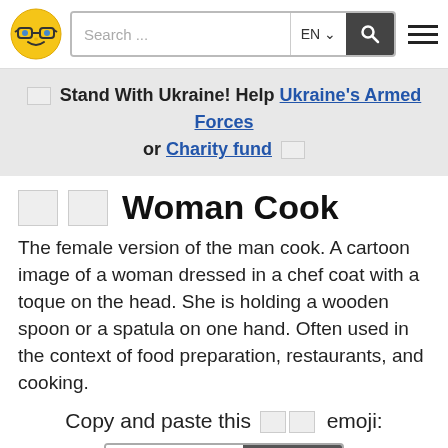Search ... EN  [search icon] [hamburger menu]
🇺🇦 Stand With Ukraine! Help Ukraine's Armed Forces or Charity fund 🇺🇦
🧑‍🍳 Woman Cook
The female version of the man cook. A cartoon image of a woman dressed in a chef coat with a toque on the head. She is holding a wooden spoon or a spatula on one hand. Often used in the context of food preparation, restaurants, and cooking.
Copy and paste this 🧑‍🍳 emoji: